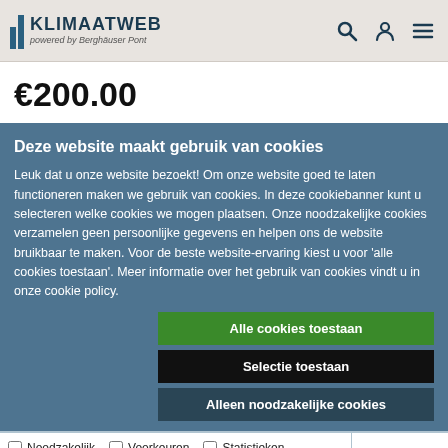[Figure (logo): Klimaatweb logo with two vertical bars and text 'KLIMAATWEB powered by Berghäuser Pont']
€200.00
Deze website maakt gebruik van cookies
Leuk dat u onze website bezoekt! Om onze website goed te laten functioneren maken we gebruik van cookies. In deze cookiebanner kunt u selecteren welke cookies we mogen plaatsen. Onze noodzakelijke cookies verzamelen geen persoonlijke gegevens en helpen ons de website bruikbaar te maken. Voor de beste website-ervaring kiest u voor 'alle cookies toestaan'. Meer informatie over het gebruik van cookies vindt u in onze cookie policy.
Alle cookies toestaan
Selectie toestaan
Alleen noodzakelijke cookies
Noodzakelijk  Voorkeuren  Statistieken  Marketing  Details tonen